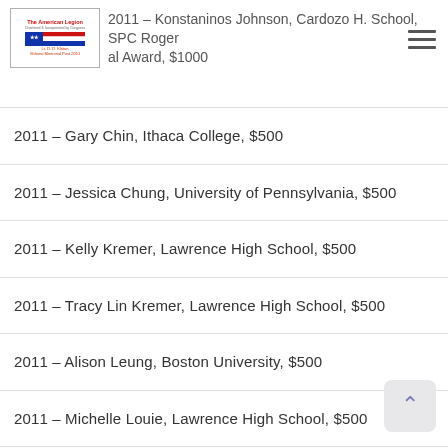2011 – Konstaninos Johnson, Cardozo H. School, SPC Roger [Memorial] Award, $1000
2011 – Gary Chin, Ithaca College, $500
2011 – Jessica Chung, University of Pennsylvania, $500
2011 – Kelly Kremer, Lawrence High School, $500
2011 – Tracy Lin Kremer, Lawrence High School, $500
2011 – Alison Leung, Boston University, $500
2011 – Michelle Louie, Lawrence High School, $500
2011 – Jennifer Moy, NJ Institute of Technology , $500
2011 – Juliet Shum, Vaughn C. of Aeronautics , $500